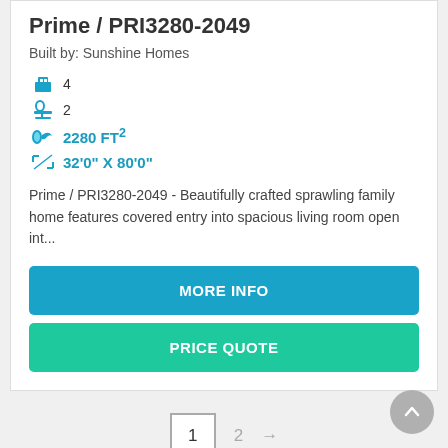Prime / PRI3280-2049
Built by: Sunshine Homes
4 bedrooms
2 bathrooms
2280 FT²
32'0" X 80'0"
Prime / PRI3280-2049 - Beautifully crafted sprawling family home features covered entry into spacious living room open int...
MORE INFO
PRICE QUOTE
1  2  →